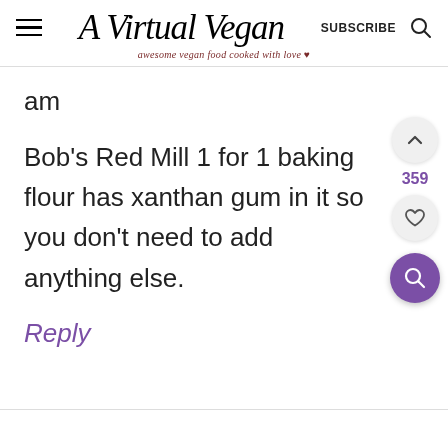A Virtual Vegan — awesome vegan food cooked with love — SUBSCRIBE
am
Bob's Red Mill 1 for 1 baking flour has xanthan gum in it so you don't need to add anything else.
Reply